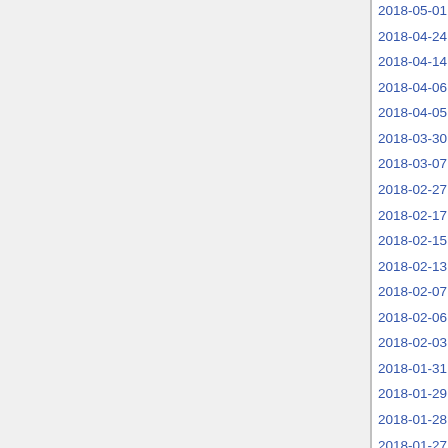2018-05-01 02:40:14
2018-04-24 02:14:13
2018-04-14 03:02:19
2018-04-06 02:42:27
2018-04-05 02:48:12
2018-03-30 08:54:32
2018-03-07 03:33:12
2018-02-27 03:32:45
2018-02-17 03:28:35
2018-02-15 03:29:02
2018-02-13 03:32:21
2018-02-07 03:28:06
2018-02-06 03:27:58
2018-02-03 03:14:08
2018-01-31 03:14:13
2018-01-29 03:14:09
2018-01-28 03:14:12
2018-01-27 03:14:09
2018-01-26 03:14:23
2018-01-25 11:19:25
2017-12-17 18:45:07